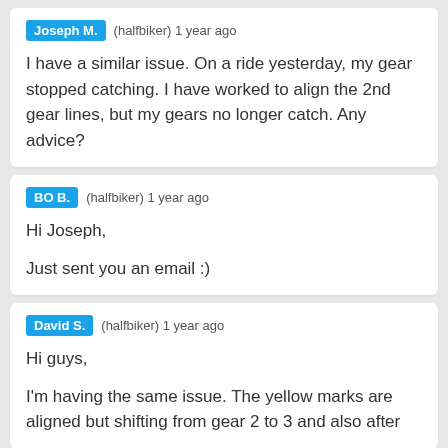Joseph M. (halfbiker) 1 year ago
I have a similar issue. On a ride yesterday, my gear stopped catching. I have worked to align the 2nd gear lines, but my gears no longer catch. Any advice?
BO B. (halfbiker) 1 year ago
Hi Joseph,

Just sent you an email :)
David S. (halfbiker) 1 year ago
Hi guys,

I'm having the same issue. The yellow marks are aligned but shifting from gear 2 to 3 and also after